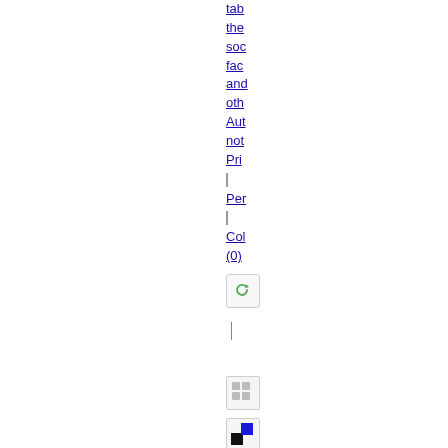tab the soc fac and oth Aut not Pri
Per
Col (0)
[Figure (screenshot): Refresh/reload button icon with green circular arrow]
[Figure (screenshot): Text cursor blinking line]
[Figure (screenshot): Small icon button with QR or grid symbol]
[Figure (screenshot): Small icon with black and blue squares]
06 March 2017
Squ the Cir